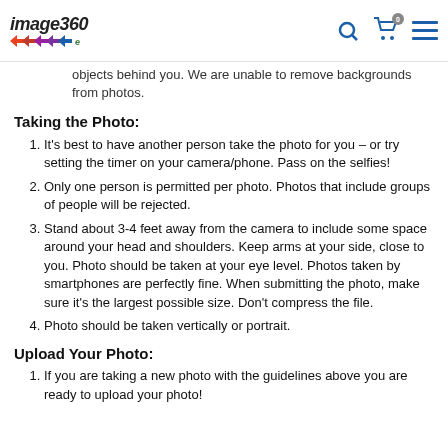image360 express
objects behind you. We are unable to remove backgrounds from photos.
Taking the Photo:
It's best to have another person take the photo for you – or try setting the timer on your camera/phone. Pass on the selfies!
Only one person is permitted per photo. Photos that include groups of people will be rejected.
Stand about 3-4 feet away from the camera to include some space around your head and shoulders. Keep arms at your side, close to you. Photo should be taken at your eye level. Photos taken by smartphones are perfectly fine. When submitting the photo, make sure it's the largest possible size. Don't compress the file.
Photo should be taken vertically or portrait.
Upload Your Photo:
If you are taking a new photo with the guidelines above you are ready to upload your photo!